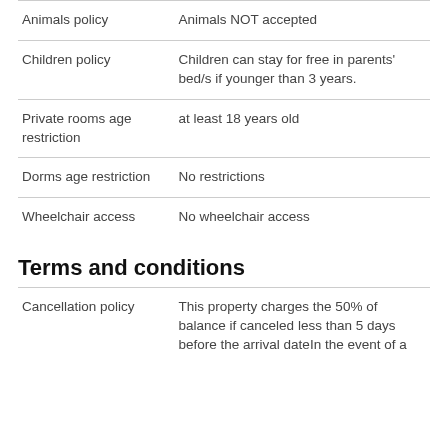| Policy | Details |
| --- | --- |
| Animals policy | Animals NOT accepted |
| Children policy | Children can stay for free in parents' bed/s if younger than 3 years. |
| Private rooms age restriction | at least 18 years old |
| Dorms age restriction | No restrictions |
| Wheelchair access | No wheelchair access |
Terms and conditions
| Policy | Details |
| --- | --- |
| Cancellation policy | This property charges the 50% of balance if canceled less than 5 days before the arrival dateIn the event of a |